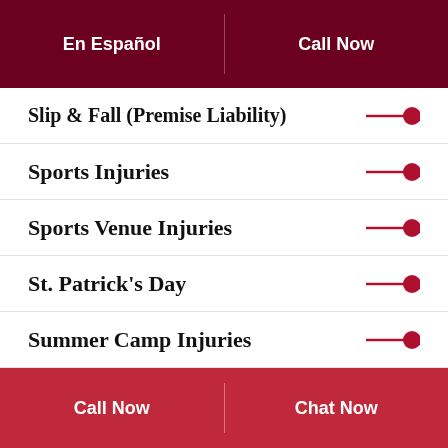En Español | Call Now
Slip & Fall (Premise Liability)
Sports Injuries
Sports Venue Injuries
St. Patrick's Day
Summer Camp Injuries
Summer Injuries
Survival Action Claims
Call Now | Chat Now